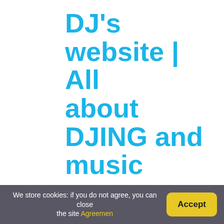DJ's website | All about DJING and music
Rekordbox DJ from Pioneer DJ. Rekordbox DJ is one of the best DJ software on the market.
Serato DJ Pro. Serato DJ Pro is another top-rated DJ software.
Traktor Pro from Native Instruments.
Ableton Live.
What do beginner DJs need?
What Types of Equipment Do You Need for Your DJ Setup
We store cookies: if you do not agree, you can close the site Agreement